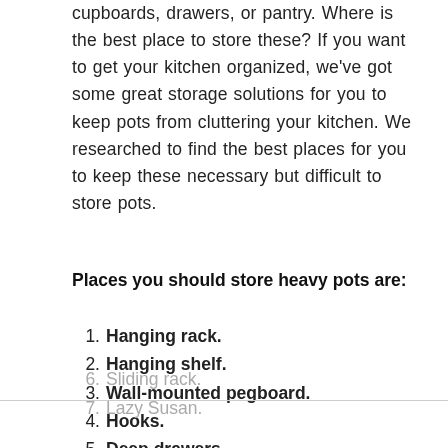cupboards, drawers, or pantry. Where is the best place to store these? If you want to get your kitchen organized, we've got some great storage solutions for you to keep pots from cluttering your kitchen. We researched to find the best places for you to keep these necessary but difficult to store pots.
Places you should store heavy pots are:
Hanging rack.
Hanging shelf.
Wall-mounted pegboard.
Hooks.
Deep drawers.
Sliding rack.
Lazy Susan.